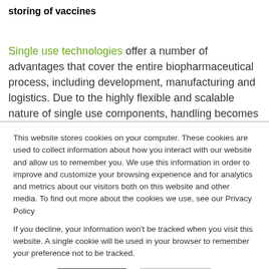storing of vaccines
Single use technologies offer a number of advantages that cover the entire biopharmaceutical process, including development, manufacturing and logistics. Due to the highly flexible and scalable nature of single use components, handling becomes very easy while
This website stores cookies on your computer. These cookies are used to collect information about how you interact with our website and allow us to remember you. We use this information in order to improve and customize your browsing experience and for analytics and metrics about our visitors both on this website and other media. To find out more about the cookies we use, see our Privacy Policy
If you decline, your information won't be tracked when you visit this website. A single cookie will be used in your browser to remember your preference not to be tracked.
Accept | Decline